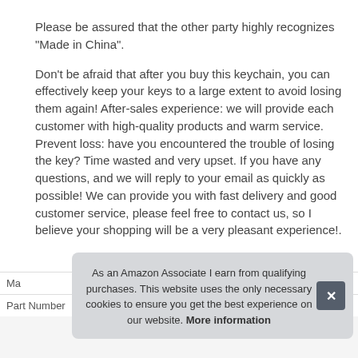Please be assured that the other party highly recognizes "Made in China".
Don't be afraid that after you buy this keychain, you can effectively keep your keys to a large extent to avoid losing them again! After-sales experience: we will provide each customer with high-quality products and warm service. Prevent loss: have you encountered the trouble of losing the key? Time wasted and very upset. If you have any questions, and we will reply to your email as quickly as possible! We can provide you with fast delivery and good customer service, please feel free to contact us, so I believe your shopping will be a very pleasant experience!.
As an Amazon Associate I earn from qualifying purchases. This website uses the only necessary cookies to ensure you get the best experience on our website. More information
| Ma |  |
| Part Number | Yclrpro6904690358806 |